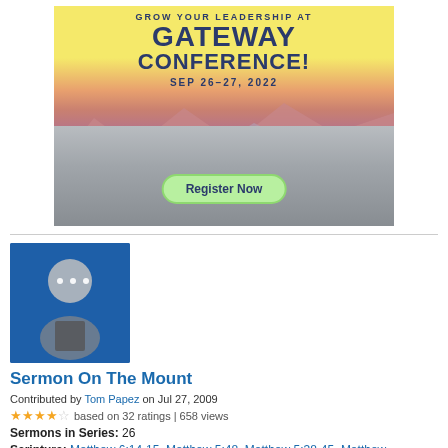[Figure (infographic): Gateway Conference advertisement banner. Yellow background with sunset/mountain landscape. Text reads: GROW YOUR LEADERSHIP AT GATEWAY CONFERENCE! SEP 26-27, 2022. Green Register Now button.]
[Figure (photo): Generic user avatar placeholder image on blue background showing silhouette of a person]
Sermon On The Mount
Contributed by Tom Papez on Jul 27, 2009
based on 32 ratings | 658 views
Sermons in Series: 26
Scripture: Matthew 6:14-15, Matthew 5:48, Matthew 5:38-45, Matthew